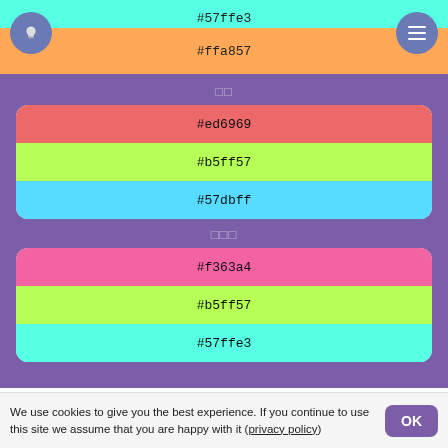[Figure (screenshot): Color palette app UI showing color swatches with hex codes #57ffe3 and #ffa857 in top bar section]
□□
[Figure (infographic): Color palette card with three swatches: #ed6969 (red), #b5ff57 (yellow-green), #57dbff (sky blue)]
□□□
[Figure (infographic): Color palette card with three swatches: #f363a4 (pink), #b5ff57 (yellow-green), #57ffe3 (cyan)]
CIELab   CIELCHuv   HSL
We use cookies to give you the best experience. If you continue to use this site we assume that you are happy with it (privacy policy)